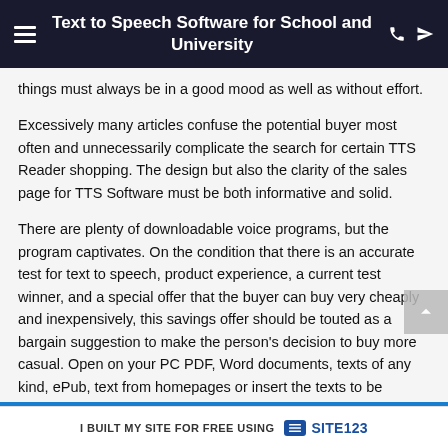Text to Speech Software for School and University
things must always be in a good mood as well as without effort.
Excessively many articles confuse the potential buyer most often and unnecessarily complicate the search for certain TTS Reader shopping. The design but also the clarity of the sales page for TTS Software must be both informative and solid.
There are plenty of downloadable voice programs, but the program captivates. On the condition that there is an accurate test for text to speech, product experience, a current test winner, and a special offer that the buyer can buy very cheaply and inexpensively, this savings offer should be touted as a bargain suggestion to make the person's decision to buy more casual. Open on your PC PDF, Word documents, texts of any kind, ePub, text from homepages or insert the texts to be carried forward from your PC clipboard. With the help of the text to speech it is not an issue to convert text to speech
I BUILT MY SITE FOR FREE USING  SITE123